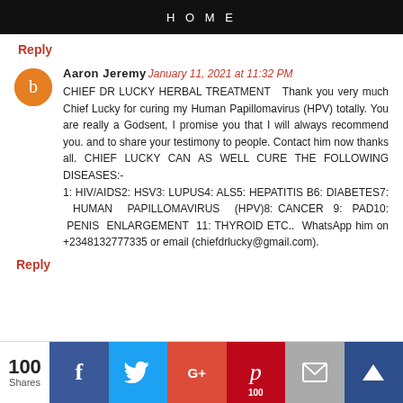HOME
Reply
Aaron Jeremy  January 11, 2021 at 11:32 PM
CHIEF DR LUCKY HERBAL TREATMENT   Thank you very much Chief Lucky for curing my Human Papillomavirus (HPV) totally. You are really a Godsent, I promise you that I will always recommend you. and to share your testimony to people. Contact him now thanks all. CHIEF LUCKY CAN AS WELL CURE THE FOLLOWING DISEASES:-
1: HIV/AIDS2: HSV3: LUPUS4: ALS5: HEPATITIS B6: DIABETES7:  HUMAN  PAPILLOMAVIRUS  (HPV)8: CANCER  9:  PAD10:  PENIS  ENLARGEMENT  11: THYROID ETC.. WhatsApp him on +2348132777335 or email (chiefdrlucky@gmail.com).
Reply
[Figure (infographic): Social share bar with 100 Shares count, Facebook, Twitter, Google+, Pinterest (100), Email, and crown icon buttons]